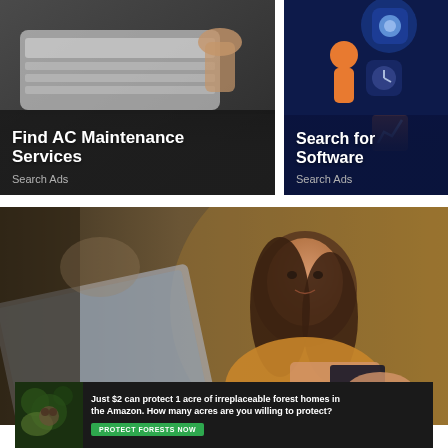[Figure (photo): Ad banner: AC unit being serviced by a technician. Text overlay: 'Find AC Maintenance Services' with 'Search Ads' subtitle.]
[Figure (photo): Ad banner: Illustrated person using phone/apps on blue background. Text overlay: 'Search for Software' with 'Search Ads' subtitle.]
[Figure (photo): Large photo of a smiling woman with brown hair in a mustard sweater, holding a credit card, looking at a laptop screen.]
[Figure (photo): Bottom banner ad with forest/nature background. Text: 'Just $2 can protect 1 acre of irreplaceable forest homes in the Amazon. How many acres are you willing to protect?' with green button 'PROTECT FORESTS NOW'.]